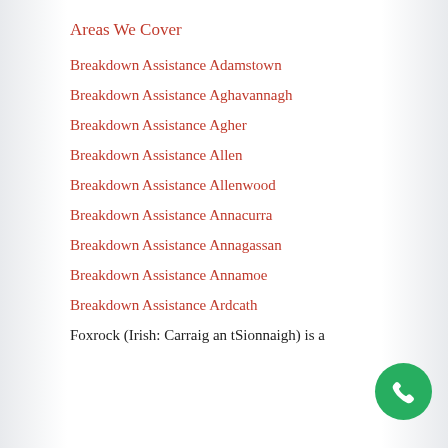Areas We Cover
Breakdown Assistance Adamstown
Breakdown Assistance Aghavannagh
Breakdown Assistance Agher
Breakdown Assistance Allen
Breakdown Assistance Allenwood
Breakdown Assistance Annacurra
Breakdown Assistance Annagassan
Breakdown Assistance Annamoe
Breakdown Assistance Ardcath
Foxrock (Irish: Carraig an tSionnaigh) is a